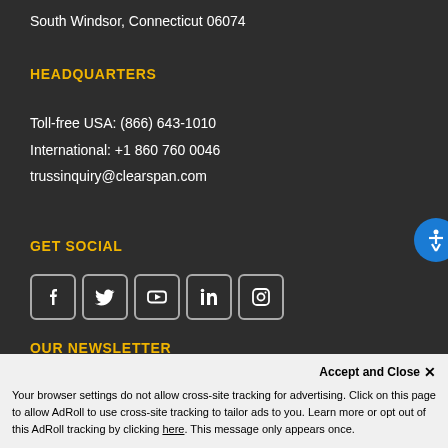South Windsor, Connecticut 06074
HEADQUARTERS
Toll-free USA: (866) 643-1010
International: +1 860 760 0046
trussinquiry@clearspan.com
GET SOCIAL
[Figure (illustration): Five social media icons in rounded square borders: Facebook, Twitter, YouTube, LinkedIn, Instagram]
OUR NEWSLETTER
Get the latest news, offers and promotions he...
Accept and Close ✕
Your browser settings do not allow cross-site tracking for advertising. Click on this page to allow AdRoll to use cross-site tracking to tailor ads to you. Learn more or opt out of this AdRoll tracking by clicking here. This message only appears once.